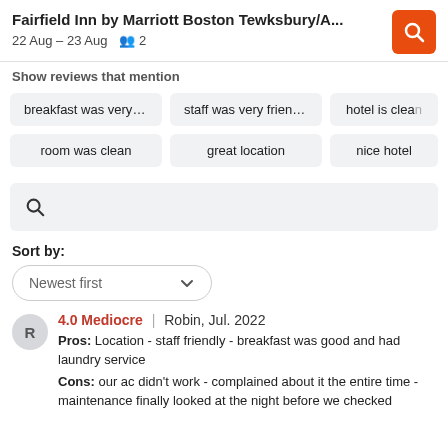Fairfield Inn by Marriott Boston Tewksbury/A...  22 Aug – 23 Aug  2
Show reviews that mention
breakfast was very good
staff was very friendly
hotel is clear
room was clean
great location
nice hotel
Sort by:
Newest first
4.0 Mediocre | Robin, Jul. 2022
Pros: Location - staff friendly - breakfast was good and had laundry service
Cons: our ac didn't work - complained about it the entire time - maintenance finally looked at the night before we checked